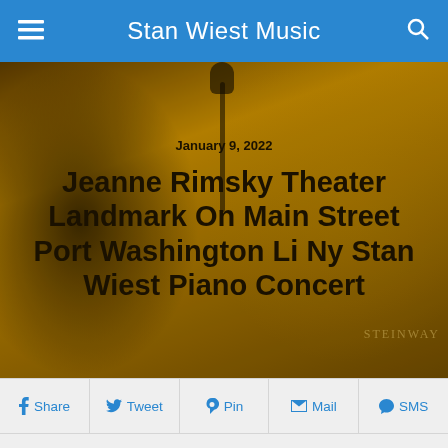Stan Wiest Music
[Figure (photo): Hero image with dark golden tint showing a pianist silhouette and microphone stand, with the date January 9, 2022 and article title overlaid]
Jeanne Rimsky Theater Landmark On Main Street Port Washington Li Ny Stan Wiest Piano Concert
f Share  Tweet  Pin  Mail  SMS
JEANNE RIMSKY THEATER  – THE LANDMARK ON MAIN STREET
232 MAIN STREET PORT WASHINGTON